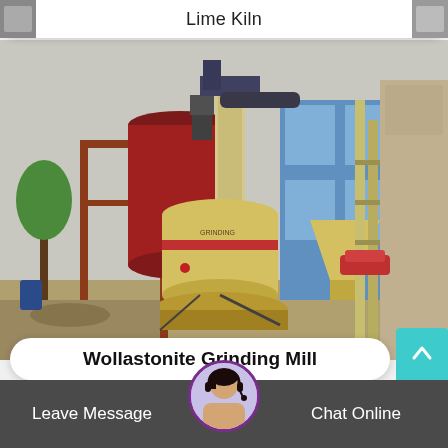Lime Kiln
[Figure (photo): Industrial wollastonite grinding mill equipment outdoors - large yellow grinding machine with red cylindrical silos, blue building in background, construction site setting]
Wollastonite Grinding Mill
Leave Message
Chat Online